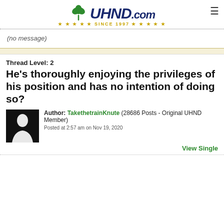[Figure (logo): UHND.com logo with green shamrock and navy/gold text, Since 1997]
(no message)
Thread Level: 2
He's thoroughly enjoying the privileges of his position and has no intention of doing so?
Author: TakethetrainKnute (28686 Posts - Original UHND Member)
Posted at 2:57 am on Nov 19, 2020
View Single